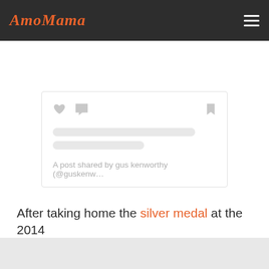AmoMama
[Figure (screenshot): Social media embed card with heart, comment, and bookmark icons, two skeleton loading bars, and caption text reading 'A post shared by gus kenworthy (@guskenw...']
After taking home the silver medal at the 2014